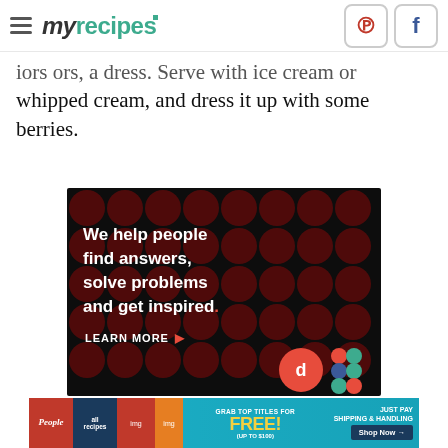myrecipes
iors ors, a dress. Serve with ice cream or whipped cream, and dress it up with some berries.
[Figure (infographic): Advertisement banner with dark background and circular dot pattern. Text reads: 'We help people find answers, solve problems and get inspired.' with 'LEARN MORE' button and logos at bottom right.]
[Figure (infographic): Bottom advertisement banner for free magazine subscription: 'GRAB TOP TITLES FOR FREE! (UP TO $100) JUST PAY SHIPPING & HANDLING Shop Now →' featuring People and allrecipes magazine logos.]